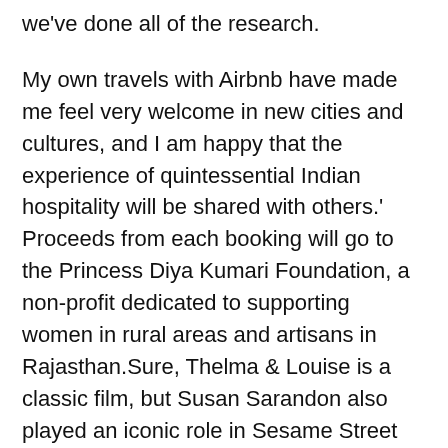we've done all of the research.
My own travels with Airbnb have made me feel very welcome in new cities and cultures, and I am happy that the experience of quintessential Indian hospitality will be shared with others.' Proceeds from each booking will go to the Princess Diya Kumari Foundation, a non-profit dedicated to supporting women in rural areas and artisans in Rajasthan.Sure, Thelma & Louise is a classic film, but Susan Sarandon also played an iconic role in Sesame Street All-Star 25th Birthday: Stars and Street Forever!Chicago , and at Indianapolis ...Inactive at Washington , vs.was optioned to Triple-A Scranton Wilkes-Barre following Tuesday's win over the Mariners.
Lu Kang confirmed the development, saying: After the U.S.I am still working very hard but having the support of Sky when I was at the back of the field really helped to lead me to where I am now.It is such an honor to be on that list of cheerleaders who have gone to Pro Bowl and represented our team.It had